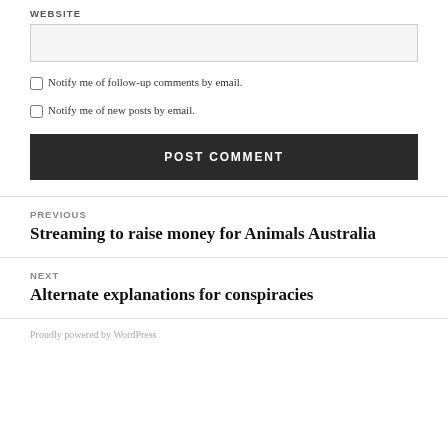WEBSITE
Notify me of follow-up comments by email.
Notify me of new posts by email.
POST COMMENT
PREVIOUS
Streaming to raise money for Animals Australia
NEXT
Alternate explanations for conspiracies
Proudly powered by WordPress